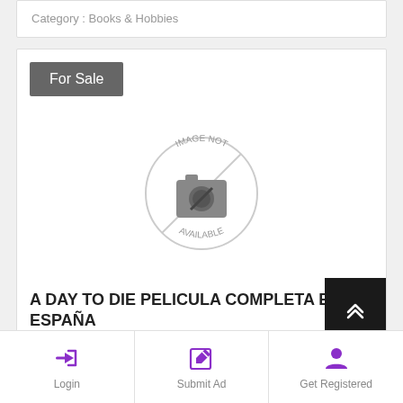Category : Books & Hobbies
For Sale
[Figure (illustration): IMAGE NOT AVAILABLE placeholder with camera icon inside a circle]
A DAY TO DIE PELICULA COMPLETA EN DE ESPAÑA
Login
Submit Ad
Get Registered